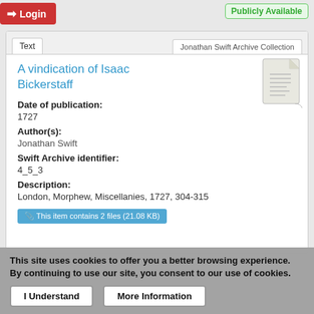Login
Publicly Available
Text  |  Jonathan Swift Archive Collection
A vindication of Isaac Bickerstaff
Date of publication:
1727
Author(s):
Jonathan Swift
Swift Archive identifier:
4_5_3
Description:
London, Morphew, Miscellanies, 1727, 304-315
This item contains 2 files (21.08 KB)
This site uses cookies to offer you a better browsing experience. By continuing to use our site, you consent to our use of cookies.
I Understand
More Information